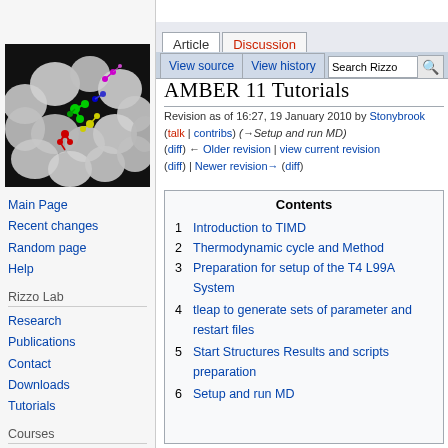Log in
[Figure (photo): 3D molecular visualization showing protein surface (white/gray) with colorful ligand molecules (green, yellow, red, blue, magenta) docked in a binding site against a black background.]
Article | Discussion | View source | View history | Search Rizzo
AMBER 11 Tutorials
Revision as of 16:27, 19 January 2010 by Stonybrook (talk | contribs) (→Setup and run MD)
(diff) ← Older revision | view current revision (diff) | Newer revision→ (diff)
Contents
1 Introduction to TIMD
2 Thermodynamic cycle and Method
3 Preparation for setup of the T4 L99A System
4 tleap to generate sets of parameter and restart files
5 Start Structures Results and scripts preparation
6 Setup and run MD
Main Page
Recent changes
Random page
Help
Rizzo Lab
Research
Publications
Contact
Downloads
Tutorials
Courses
AMS-531